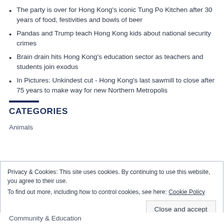The party is over for Hong Kong's iconic Tung Po Kitchen after 30 years of food, festivities and bowls of beer
Pandas and Trump teach Hong Kong kids about national security crimes
Brain drain hits Hong Kong's education sector as teachers and students join exodus
In Pictures: Unkindest cut - Hong Kong's last sawmill to close after 75 years to make way for new Northern Metropolis
CATEGORIES
Animals
Privacy & Cookies: This site uses cookies. By continuing to use this website, you agree to their use.
To find out more, including how to control cookies, see here: Cookie Policy
Close and accept
Community & Education